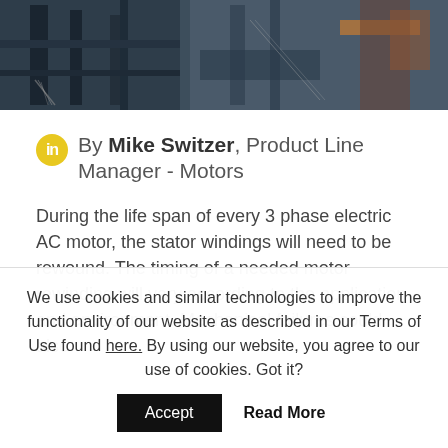[Figure (photo): Industrial/manufacturing setting photo banner showing equipment, metal structures, and wiring in a workshop or factory environment]
By Mike Switzer, Product Line Manager - Motors
During the life span of every 3 phase electric AC motor, the stator windings will need to be rewound. The timing of a needed motor rewinding will vary according to the application and environment. Mechanical failures could also
We use cookies and similar technologies to improve the functionality of our website as described in our Terms of Use found here. By using our website, you agree to our use of cookies. Got it?